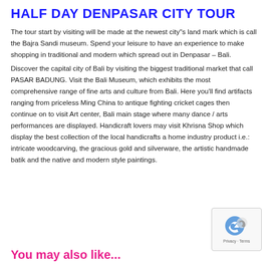HALF DAY DENPASAR CITY TOUR
The tour start by visiting will be made at the newest city"s land mark which is call the Bajra Sandi museum. Spend your leisure to have an experience to make shopping in traditional and modern which spread out in Denpasar – Bali.
Discover the capital city of Bali by visiting the biggest traditional market that call PASAR BADUNG. Visit the Bali Museum, which exhibits the most comprehensive range of fine arts and culture from Bali. Here you'll find artifacts ranging from priceless Ming China to antique fighting cricket cages then continue on to visit Art center, Bali main stage where many dance / arts performances are displayed. Handicraft lovers may visit Khrisna Shop which display the best collection of the local handicrafts a home industry product i.e.: intricate woodcarving, the gracious gold and silverware, the artistic handmade batik and the native and modern style paintings.
[Figure (logo): reCAPTCHA badge with privacy and terms links]
You may also like...